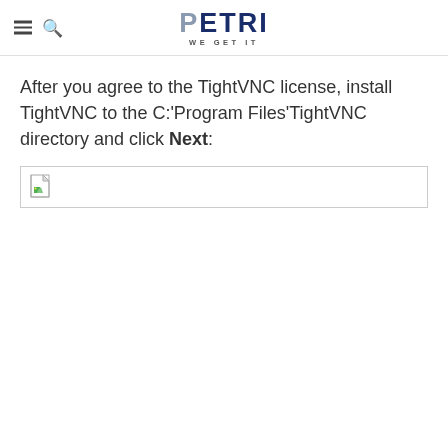PETRI WE GET IT
After you agree to the TightVNC license, install TightVNC to the C:'Program Files'TightVNC directory and click Next:
[Figure (screenshot): Broken image placeholder showing a screenshot of the TightVNC installation directory selection dialog.]